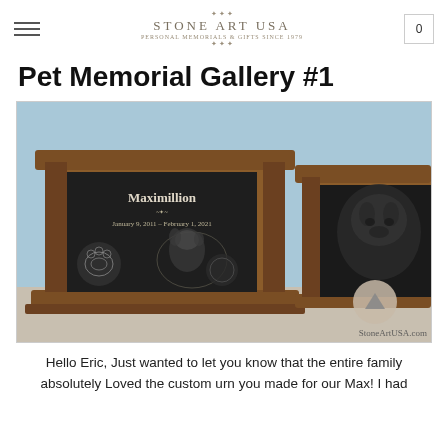Stone Art USA
Pet Memorial Gallery #1
[Figure (photo): Two wooden pet memorial urns with black granite panels. The left urn shows 'Maximillion, January 9, 2011 – February 1, 2021' with an engraved image of a dog and a paw print. The right urn shows an engraved dog portrait. Watermark: StoneArtUSA.com]
Hello Eric, Just wanted to let you know that the entire family absolutely Loved the custom urn you made for our Max! I had